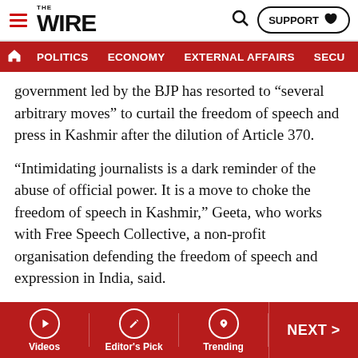THE WIRE — SUPPORT | POLITICS | ECONOMY | EXTERNAL AFFAIRS | SECU...
government led by the BJP has resorted to “several arbitrary moves” to curtail the freedom of speech and press in Kashmir after the dilution of Article 370.
“Intimidating journalists is a dark reminder of the abuse of official power. It is a move to choke the freedom of speech in Kashmir,” Geeta, who works with Free Speech Collective, a non-profit organisation defending the freedom of speech and expression in India, said.
“Journalists are meant to hold the system accountable but when the system turns against them and resorts to overt and covert means to threaten them, it will erode the system of accountability as well,” she added.
Videos | Editor's Pick | Trending | NEXT >